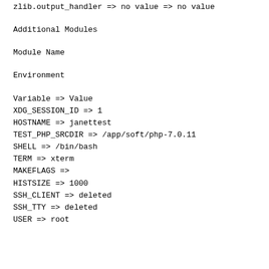zlib.output_handler => no value => no value
Additional Modules
Module Name
Environment
Variable => Value
XDG_SESSION_ID => 1
HOSTNAME => janettest
TEST_PHP_SRCDIR => /app/soft/php-7.0.11
SHELL => /bin/bash
TERM => xterm
MAKEFLAGS =>
HISTSIZE => 1000
SSH_CLIENT => deleted
SSH_TTY => deleted
USER => root